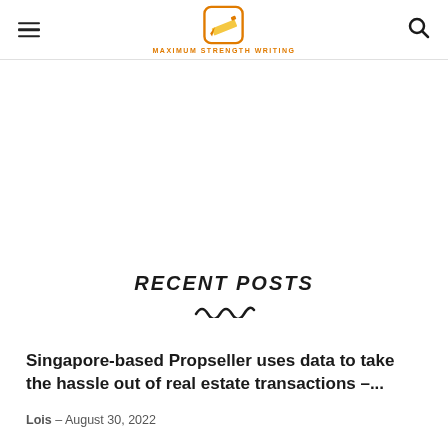MAXIMUM STRENGTH WRITING
RECENT POSTS
Singapore-based Propseller uses data to take the hassle out of real estate transactions –...
Lois – August 30, 2022